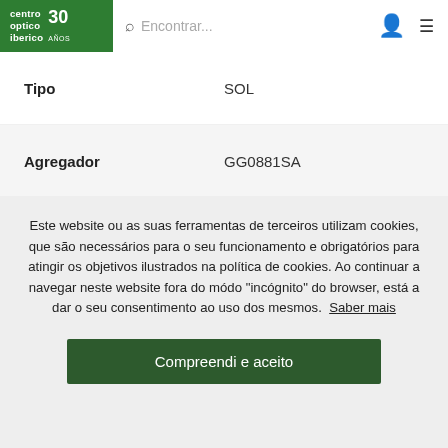centro optico iberico 30 ANOS — Encontrar...
| Label | Value |
| --- | --- |
| Tipo | SOL |
| Agregador | GG0881SA |
| Outlet | NÃO |
Este website ou as suas ferramentas de terceiros utilizam cookies, que são necessários para o seu funcionamento e obrigatórios para atingir os objetivos ilustrados na política de cookies. Ao continuar a navegar neste website fora do módo "incógnito" do browser, está a dar o seu consentimento ao uso dos mesmos. Saber mais
Compreendi e aceito